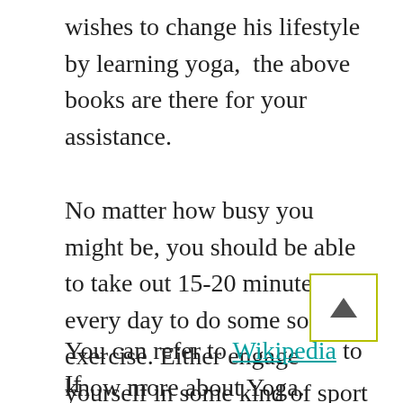wishes to change his lifestyle by learning yoga,  the above books are there for your assistance.
No matter how busy you might be, you should be able to take out 15-20 minutes every day to do some sort of exercise. Either engage yourself in some kind of sport or get in the habit of doing yoga at home.
You can refer to Wikipedia to know more about Yoga.
If